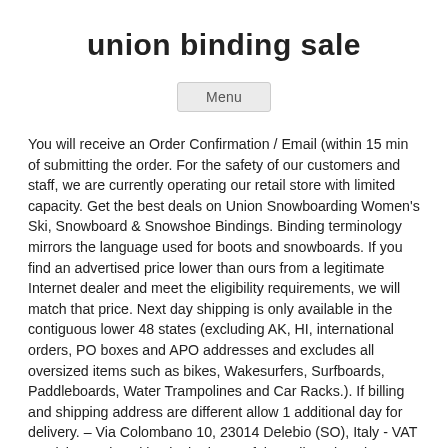union binding sale
Menu
You will receive an Order Confirmation / Email (within 15 min of submitting the order. For the safety of our customers and staff, we are currently operating our retail store with limited capacity. Get the best deals on Union Snowboarding Women's Ski, Snowboard & Snowshoe Bindings. Binding terminology mirrors the language used for boots and snowboards. If you find an advertised price lower than ours from a legitimate Internet dealer and meet the eligibility requirements, we will match that price. Next day shipping is only available in the contiguous lower 48 states (excluding AK, HI, international orders, PO boxes and APO addresses and excludes all oversized items such as bikes, Wakesurfers, Surfboards, Paddleboards, Water Trampolines and Car Racks.). If billing and shipping address are different allow 1 additional day for delivery. – Via Colombano 10, 23014 Delebio (SO), Italy - VAT nr. Living and working in the heart of the Italian Alps gives us the opportunity to test in the morning, be back in the office by lunch, adjust / modify designs by the end of the day. C3 is the North American home CAPiTA Snowboards, Union Bindings, and Coal Headwear. $299.95 . Price matching does not apply when you use coupons, rebates, promotional offers, or product bundle pricing on the order